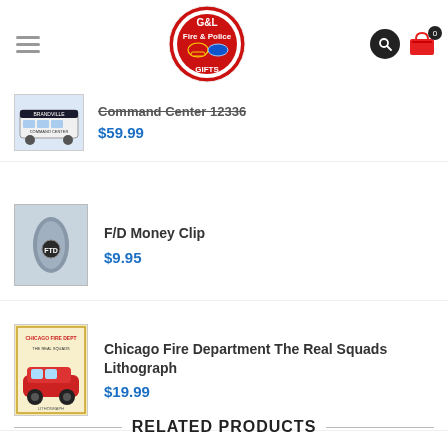G&L Fire & Police Gifts
[Figure (screenshot): Partially visible product listing: Command Center 12336, price $59.99, with thumbnail image of a white vehicle]
Command Center 12336
$59.99
[Figure (photo): F/D Money Clip product thumbnail - grey metal money clip with badge]
F/D Money Clip
$9.95
[Figure (photo): Chicago Fire Department The Real Squads Lithograph product thumbnail - red vintage car on poster]
Chicago Fire Department The Real Squads Lithograph
$19.99
RELATED PRODUCTS